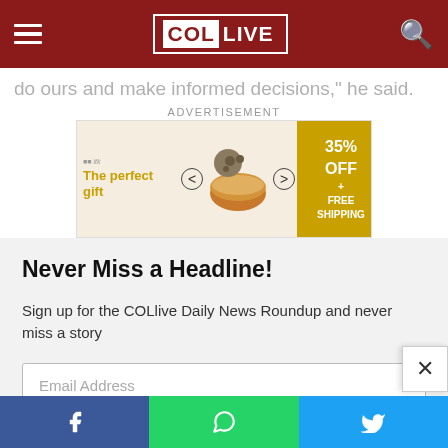COL LIVE
do ours and make informed decisions," he said.
ADVERTISEMENT
[Figure (infographic): Advertisement banner showing 'The perfect gift' with a bowl of food and '35% OFF + FREE SHIPPING' badge]
Never Miss a Headline!
Sign up for the COLlive Daily News Roundup and never miss a story
Email Address
Subscribe
Opt In